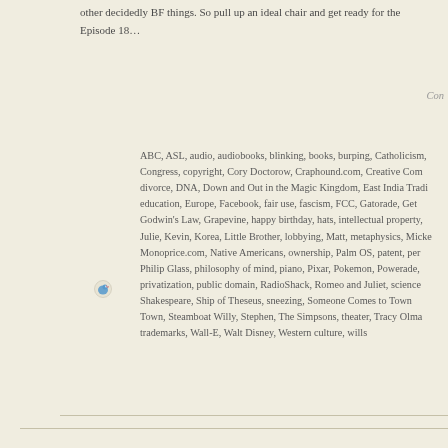other decidedly BF things. So pull up an ideal chair and get ready for the Episode 18…
Con
ABC, ASL, audio, audiobooks, blinking, books, burping, Catholicism, Congress, copyright, Cory Doctorow, Craphound.com, Creative Com divorce, DNA, Down and Out in the Magic Kingdom, East India Tradi education, Europe, Facebook, fair use, fascism, FCC, Gatorade, Get Godwin's Law, Grapevine, happy birthday, hats, intellectual property, Julie, Kevin, Korea, Little Brother, lobbying, Matt, metaphysics, Micke Monoprice.com, Native Americans, ownership, Palm OS, patent, per Philip Glass, philosophy of mind, piano, Pixar, Pokemon, Powerade, privatization, public domain, RadioShack, Romeo and Juliet, science Shakespeare, Ship of Theseus, sneezing, Someone Comes to Town Town, Steamboat Willy, Stephen, The Simpsons, theater, Tracy Olma trademarks, Wall-E, Walt Disney, Western culture, wills